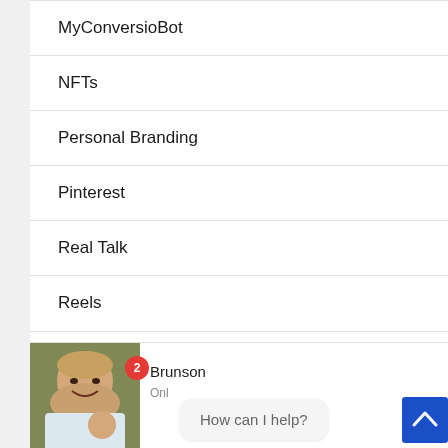MyConversioBot
NFTs
Personal Branding
Pinterest
Real Talk
Reels
[Figure (screenshot): Chat widget with avatar of a man, badge showing 2, partially visible name ending in 'Brunson', text 'onl' visible, and chat bubble saying 'How can I help?']
[Figure (other): Blue scroll-to-top button with upward arrow chevron]